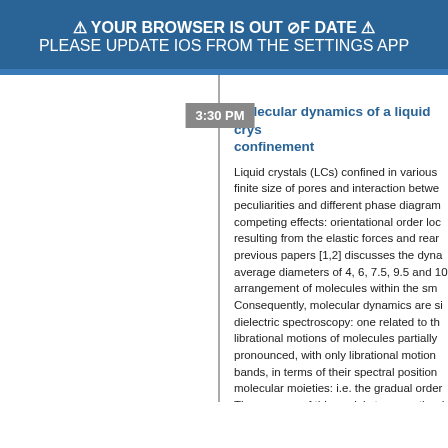⚠ YOUR BROWSER IS OUT OF DATE ⚠
PLEASE UPDATE IOS FROM THE SETTINGS APP
3:30 PM
Molecular dynamics of a liquid crys confinement
Liquid crystals (LCs) confined in various finite size of pores and interaction betwe peculiarities and different phase diagram competing effects: orientational order loc resulting from the elastic forces and rear previous papers [1,2] discusses the dyna average diameters of 4, 6, 7.5, 9.5 and 10 arrangement of molecules within the sm Consequently, molecular dynamics are si dielectric spectroscopy: one related to th librational motions of molecules partially pronounced, with only librational motion bands, in terms of their spectral position molecular moieties: i.e. the gradual order The purpose of this work is to exam the different forms of confinement. Hard con with non-interacting, cylindrical-shape